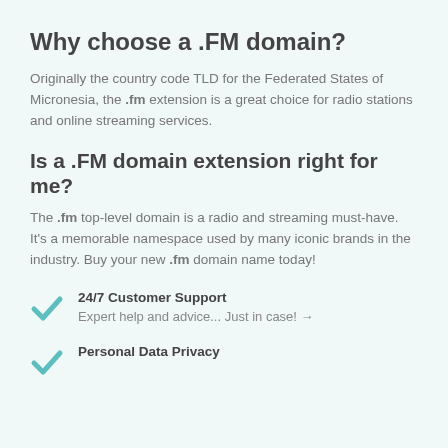Why choose a .FM domain?
Originally the country code TLD for the Federated States of Micronesia, the .fm extension is a great choice for radio stations and online streaming services.
Is a .FM domain extension right for me?
The .fm top-level domain is a radio and streaming must-have. It's a memorable namespace used by many iconic brands in the industry. Buy your new .fm domain name today!
24/7 Customer Support
Expert help and advice... Just in case! →
Personal Data Privacy